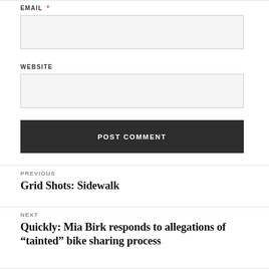EMAIL *
[Figure (other): Email input text field (empty, light gray background)]
WEBSITE
[Figure (other): Website input text field (empty, light gray background)]
POST COMMENT
PREVIOUS
Grid Shots: Sidewalk
NEXT
Quickly: Mia Birk responds to allegations of “tainted” bike sharing process